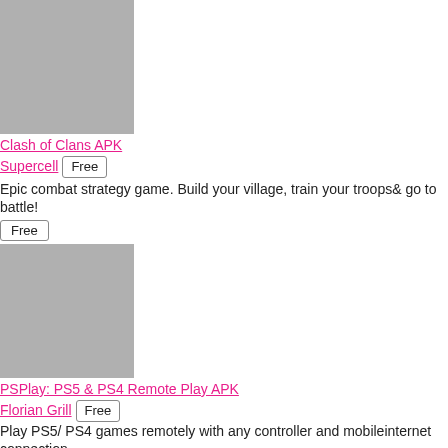[Figure (photo): Gray placeholder image for Clash of Clans APK app icon]
Clash of Clans APK
Supercell  Free
Epic combat strategy game. Build your village, train your troops& go to battle!
Free
[Figure (photo): Gray placeholder image for PSPlay PS5 & PS4 Remote Play APK app icon]
PSPlay: PS5 & PS4 Remote Play APK
Florian Grill  Free
Play PS5/ PS4 games remotely with any controller and mobileinternet connection
Free